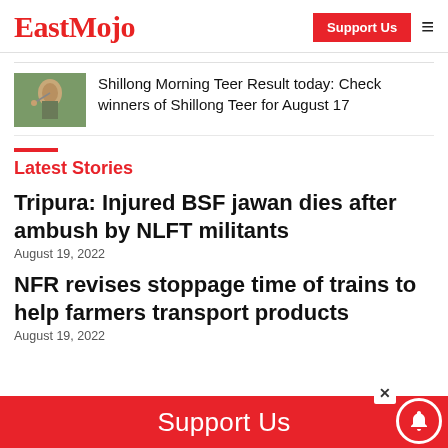EastMojo | Support Us
Shillong Morning Teer Result today: Check winners of Shillong Teer for August 17
Latest Stories
Tripura: Injured BSF jawan dies after ambush by NLFT militants
August 19, 2022
NFR revises stoppage time of trains to help farmers transport products
August 19, 2022
Support Us